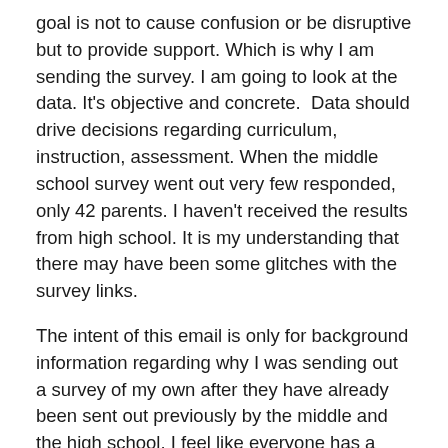goal is not to cause confusion or be disruptive but to provide support. Which is why I am sending the survey. I am going to look at the data. It's objective and concrete.  Data should drive decisions regarding curriculum, instruction, assessment. When the middle school survey went out very few responded, only 42 parents. I haven't received the results from high school. It is my understanding that there may have been some glitches with the survey links.
The intent of this email is only for background information regarding why I was sending out a survey of my own after they have already been sent out previously by the middle and the high school. I feel like everyone has a stake in this decision.  If we decide to keep Summit, it will be because it is in the best interest of our students. If we, don't it isn't a slam on anyone. It doesn't mean we failed. It meant we did what we thought was best at that time. We succeeded in getting resources to students, continuing the learning process, and doing the types of things we were told to do by the state during an